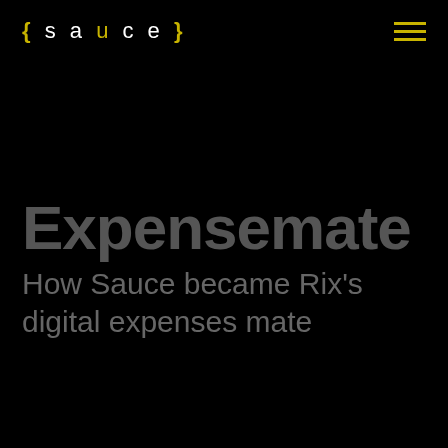[Figure (logo): Sauce logo: curly braces in yellow with 'sauce' text in white with spaced letters, on black background]
Expensemate
How Sauce became Rix's digital expenses mate